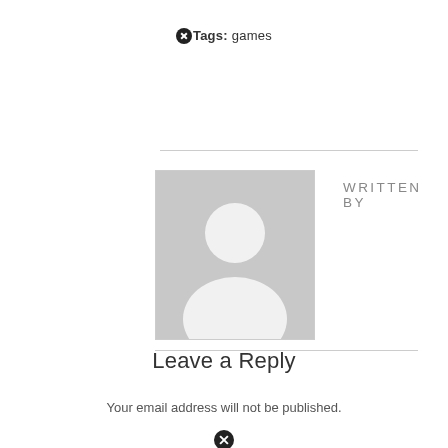Tags: games
[Figure (illustration): Default avatar placeholder image showing a generic silhouette of a person (head and shoulders) in white on grey background, inside a bordered box]
WRITTEN BY
Leave a Reply
Your email address will not be published.